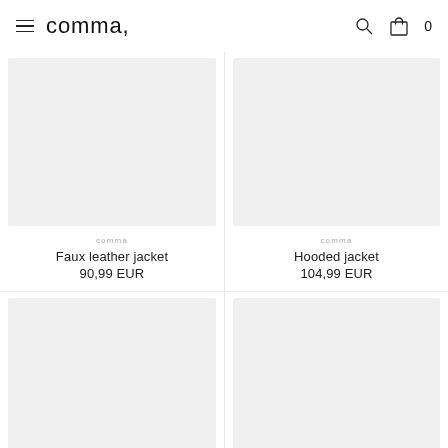comma, [logo with hamburger menu, search icon, bag icon, 0]
[Figure (photo): Light grey product image placeholder for Faux leather jacket]
comma
Faux leather jacket
90,99 EUR
[Figure (photo): Light grey product image placeholder for Hooded jacket]
comma
Hooded jacket
104,99 EUR
[Figure (photo): Light grey product image placeholder, bottom left]
[Figure (photo): Light grey product image placeholder, bottom right]